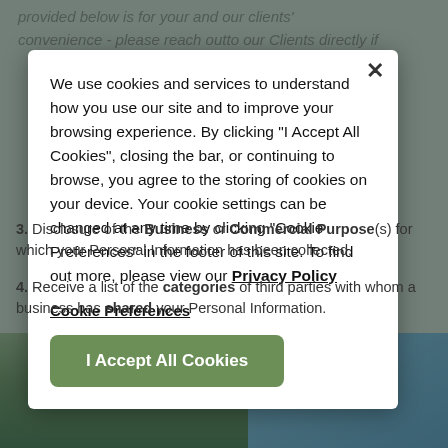We use cookies and services to understand how you use our site and to improve your browsing experience. By clicking "I Accept All Cookies", closing the bar, or continuing to browse, you agree to the storing of cookies on your device. Your cookie settings can be changed at any time by clicking "Cookie Preferences" in the footer of this site. To find out more, please view our Privacy Policy
Cookie Preferences
I Accept All Cookies
3. Disclosure of the Business or Commercial Purpose(s) for which your Personal Information has been collected.
4. Receive a list of the categories of third parties with whom a business has shared your Personal Information.